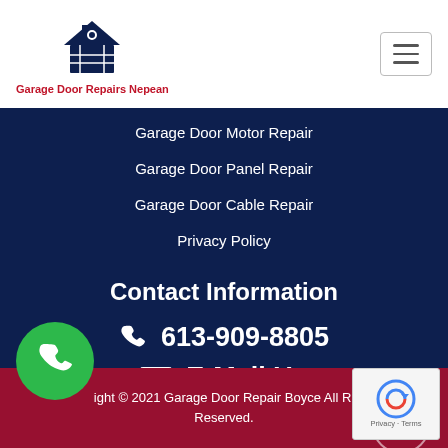[Figure (logo): Garage Door Repairs Nepean logo with house/garage icon and red text]
Garage Door Motor Repair
Garage Door Panel Repair
Garage Door Cable Repair
Privacy Policy
Contact Information
613-909-8805
E-Mail Us
ight © 2021 Garage Door Repair Boyce All Ri Reserved.